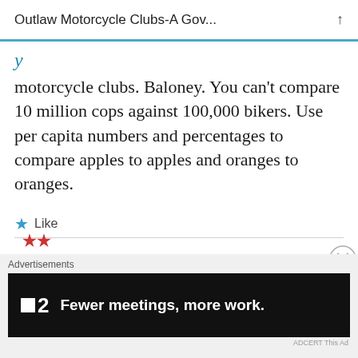Outlaw Motorcycle Clubs-A Gov...
motorcycle clubs. Baloney. You can’t compare 10 million cops against 100,000 bikers. Use per capita numbers and percentages to compare apples to apples and oranges to oranges.
★ Like
[Figure (other): Advertisements banner: P2 logo with text 'Fewer meetings, more work.']